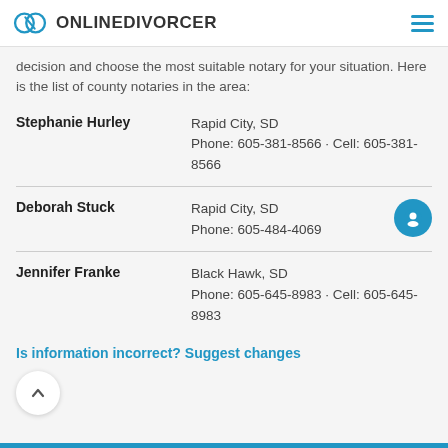ONLINEDIVORCER
decision and choose the most suitable notary for your situation. Here is the list of county notaries in the area:
Stephanie Hurley — Rapid City, SD · Phone: 605-381-8566 · Cell: 605-381-8566
Deborah Stuck — Rapid City, SD · Phone: 605-484-4069
Jennifer Franke — Black Hawk, SD · Phone: 605-645-8983 · Cell: 605-645-8983
Is information incorrect? Suggest changes